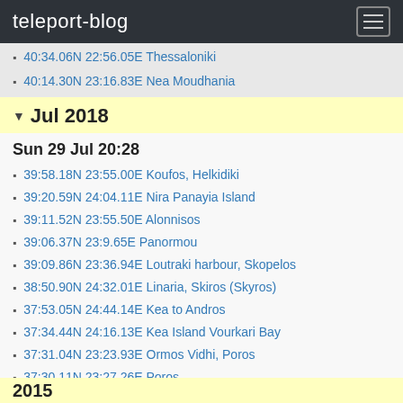teleport-blog
40:34.06N 22:56.05E Thessaloniki
40:14.30N 23:16.83E Nea Moudhania
Jul 2018
Sun 29 Jul 20:28
39:58.18N 23:55.00E Koufos, Helkidiki
39:20.59N 24:04.11E Nira Panayia Island
39:11.52N 23:55.50E Alonnisos
39:06.37N 23:9.65E Panormou
39:09.86N 23:36.94E Loutraki harbour, Skopelos
38:50.90N 24:32.01E Linaria, Skiros (Skyros)
37:53.05N 24:44.14E Kea to Andros
37:34.44N 24:16.13E Kea Island Vourkari Bay
37:31.04N 23:23.93E Ormos Vidhi, Poros
37:30.11N 23:27.26E Poros
37:22:15N 23:14:93E Ermioni
37:30.11N 23:27.26E Poros
37:23:15N 23:14:95E Ermioni
It's good to be back in Greece
2015